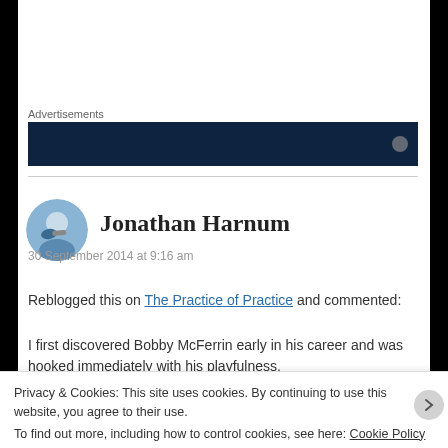Advertisements
[Figure (other): Dark navy advertisement banner]
[Figure (photo): Circular avatar photo of Jonathan Harnum playing trumpet]
Jonathan Harnum
30 September 2014 at 9:16 am
Reblogged this on The Practice of Practice and commented:
I first discovered Bobby McFerrin early in his career and was hooked immediately with his playfulness.
Privacy & Cookies: This site uses cookies. By continuing to use this website, you agree to their use.
To find out more, including how to control cookies, see here: Cookie Policy
Close and accept